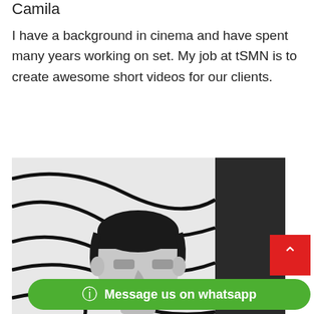Camila
I have a background in cinema and have spent many years working on set. My job at tSMN is to create awesome short videos for our clients.
[Figure (photo): Black and white photograph of a man with dark slicked-back hair and a mustache, posing in front of a graphic artwork background with bold curved lines. The right side shows a dark vertical element.]
Message us on whatsapp